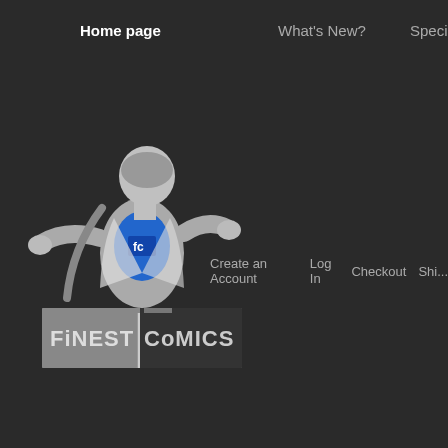Home page    What's New?    Specials
[Figure (logo): Finest Comics logo: superhero figure tearing open shirt revealing comic logo, standing on a pedestal with 'FINEST COMICS' text]
Create an Account   Log In   Checkout   Shi...